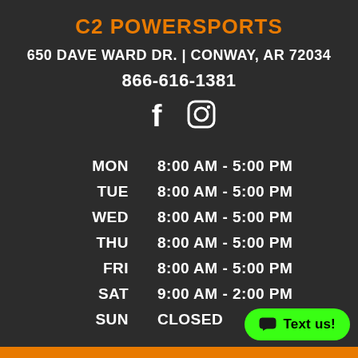C2 POWERSPORTS
650 DAVE WARD DR. | CONWAY, AR 72034
866-616-1381
[Figure (illustration): Facebook and Instagram social media icons in white]
| Day | Hours |
| --- | --- |
| MON | 8:00 AM - 5:00 PM |
| TUE | 8:00 AM - 5:00 PM |
| WED | 8:00 AM - 5:00 PM |
| THU | 8:00 AM - 5:00 PM |
| FRI | 8:00 AM - 5:00 PM |
| SAT | 9:00 AM - 2:00 PM |
| SUN | CLOSED |